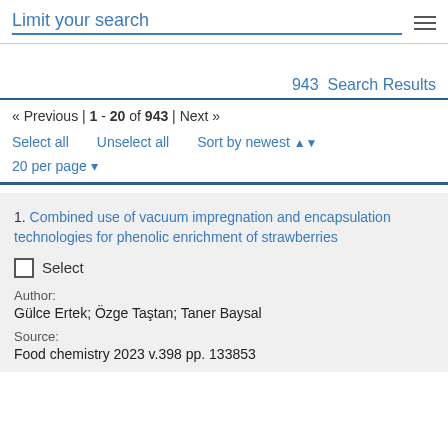Limit your search
943  Search Results
« Previous | 1 - 20 of 943 | Next »
Select all   Unselect all   Sort by newest
20 per page
1. Combined use of vacuum impregnation and encapsulation technologies for phenolic enrichment of strawberries
Select
Author:
Gülce Ertek; Özge Taştan; Taner Baysal
Source:
Food chemistry 2023 v.398 pp. 133853